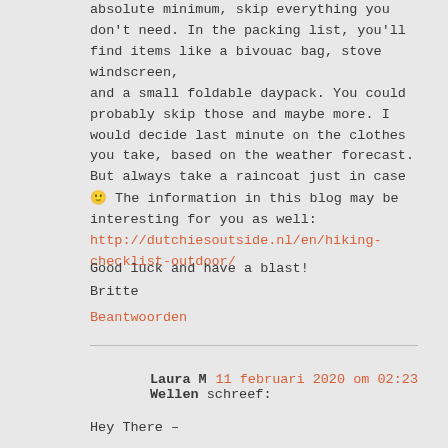absolute minimum, skip everything you don't need. In the packing list, you'll find items like a bivouac bag, stove windscreen, and a small foldable daypack. You could probably skip those and maybe more. I would decide last minute on the clothes you take, based on the weather forecast. But always take a raincoat just in case 🙂 The information in this blog may be interesting for you as well: http://dutchiesoutside.nl/en/hiking-checklist-outdoor/
Good luck and have a blast!
Britte
Beantwoorden
Laura M Wellen schreef: 11 februari 2020 om 02:23
Hey There –